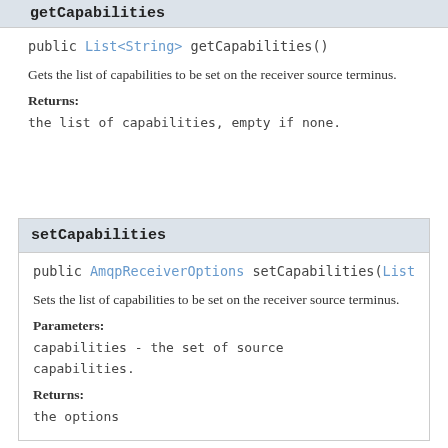getCapabilities
public List<String> getCapabilities()
Gets the list of capabilities to be set on the receiver source terminus.
Returns:
the list of capabilities, empty if none.
setCapabilities
public AmqpReceiverOptions setCapabilities(List<S
Sets the list of capabilities to be set on the receiver source terminus.
Parameters:
capabilities - the set of source capabilities.
Returns:
the options